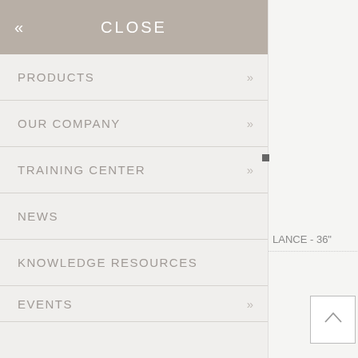CLOSE
PRODUCTS
OUR COMPANY
TRAINING CENTER
NEWS
KNOWLEDGE RESOURCES
EVENTS
MEDIA RESOURCES
CORPORATE ACCOUNTS
LANCE - 36"